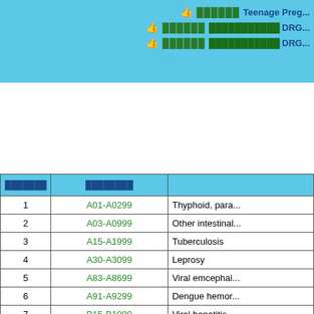🖒 ██████ Teenage Preg...
🖒 ██████ ███████████ DRG...
🖒 ██████ ███████████ DRG...
| ██████ | ████████ |  |
| --- | --- | --- |
| 1 | A01-A0299 | Thyphoid, para... |
| 2 | A03-A0999 | Other intestinal... |
| 3 | A15-A1999 | Tuberculosis |
| 4 | A30-A3099 | Leprosy |
| 5 | A83-A8699 | Viral emcephal... |
| 6 | A91-A9299 | Dengue hemor... |
| 7 | B15-B1999 | Viral hepatitis |
| 8 | B20-B2499 | Human immune... |
| 9 | B50-B5499 | Malaria |
| 10 | ... | ... |